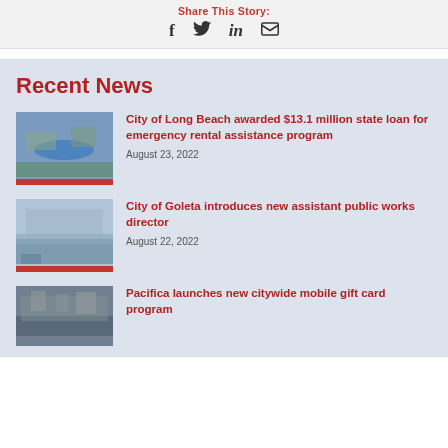Share This Story:
f  Twitter  in  Email
Recent News
[Figure (photo): Aerial view of Long Beach city with waterway]
City of Long Beach awarded $13.1 million state loan for emergency rental assistance program
August 23, 2022
[Figure (photo): Wetland or river landscape near city of Goleta]
City of Goleta introduces new assistant public works director
August 22, 2022
[Figure (photo): Hillside cityscape of Pacifica]
Pacifica launches new citywide mobile gift card program